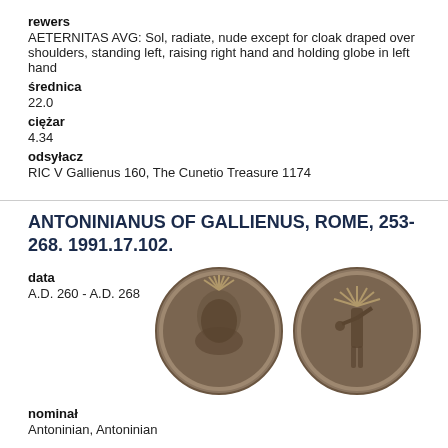rewers
AETERNITAS AVG: Sol, radiate, nude except for cloak draped over shoulders, standing left, raising right hand and holding globe in left hand
średnica
22.0
ciężar
4.34
odsyłacz
RIC V Gallienus 160, The Cunetio Treasure 1174
ANTONINIANUS OF GALLIENUS, ROME, 253-268. 1991.17.102.
data
A.D. 260 - A.D. 268
[Figure (photo): Two ancient Roman coins: obverse showing radiate portrait bust and reverse showing standing figure, both darkly patinated.]
nominał
Antoninian, Antoninian